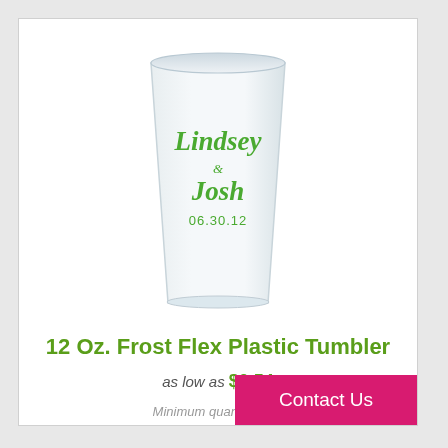[Figure (photo): A frosted flex plastic tumbler cup with green script text reading 'Lindsey & Josh' and date '06.30.12' printed on it]
12 Oz. Frost Flex Plastic Tumbler
as low as $0.54
Minimum quantity: 250
Contact Us